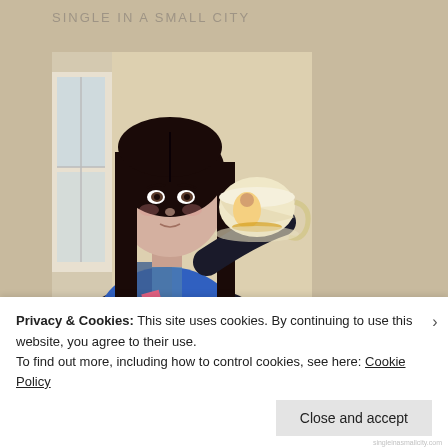SINGLE IN A SMALL CITY
[Figure (photo): A young woman with long dark hair holding up a decorative teacup with a Belle (Beauty and the Beast) design, wearing a blue patterned top and black cardigan, taking a selfie indoors near a window.]
Privacy & Cookies: This site uses cookies. By continuing to use this website, you agree to their use.
To find out more, including how to control cookies, see here: Cookie Policy
Close and accept